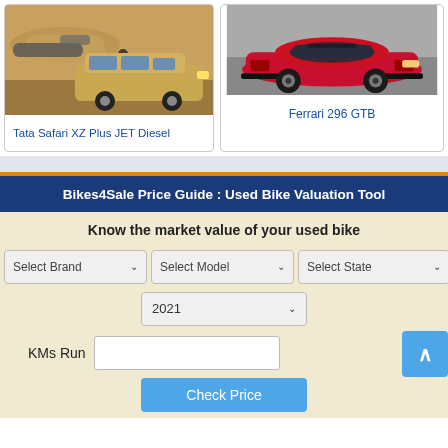[Figure (photo): Photo of Tata Safari XZ Plus JET Diesel SUV in golden/tan color with a private jet and person in background]
Tata Safari XZ Plus JET Diesel
[Figure (photo): Photo of red Ferrari 296 GTB sports car on grey background]
Ferrari 296 GTB
Bikes4Sale Price Guide : Used Bike Valuation Tool
Know the market value of your used bike
Select Brand
Select Model
Select State
2021
KMs Run
Check Price